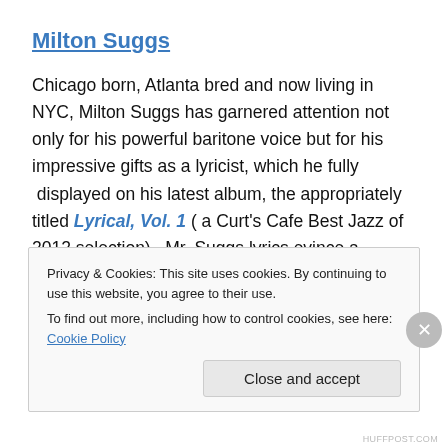Milton Suggs
Chicago born, Atlanta bred and now living in NYC, Milton Suggs has garnered attention not only for his powerful baritone voice but for his impressive gifts as a lyricist, which he fully  displayed on his latest album, the appropriately titled Lyrical, Vol. 1 ( a Curt's Cafe Best Jazz of 2012 selection).  Mr. Suggs lyrics evince a fearless creativity that is reminiscent of Jon Hendricks but with a hip-hop undercurrent that should help to keep those of his
Privacy & Cookies: This site uses cookies. By continuing to use this website, you agree to their use.
To find out more, including how to control cookies, see here: Cookie Policy
Close and accept